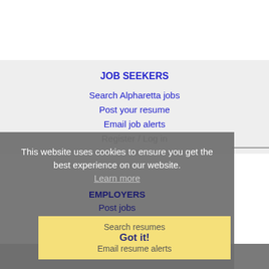JOB SEEKERS
Search Alpharetta jobs
Post your resume
Email job alerts
Register / Log in
This website uses cookies to ensure you get the best experience on our website.
Learn more
EMPLOYERS
Post jobs
Search resumes
Got it!
Email resume alerts
Advertise